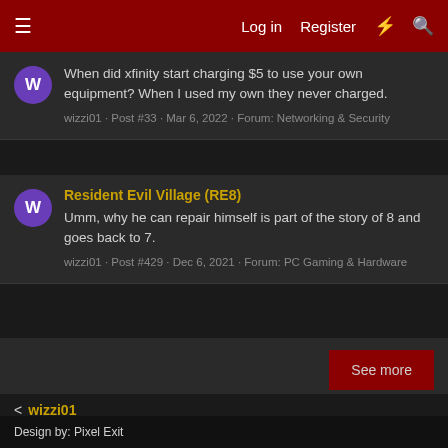Log in   Register
When did xfinity start charging $5 to use your own equipment? When I used my own they never charged.
wizzi01 · Post #33 · Mar 6, 2022 · Forum: Networking & Security
Resident Evil Village (RE8)
Umm, why he can repair himself is part of the story of 8 and goes back to 7.
wizzi01 · Post #429 · Dec 6, 2021 · Forum: PC Gaming & Hardware
See more
< wizzi01
Style chooser
Contact us   Terms and rules   Privacy policy   Help
Design by: Pixel Exit